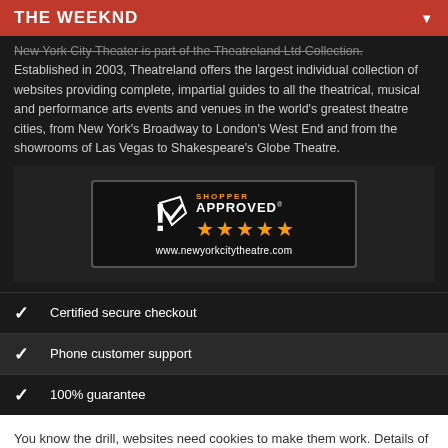THE WEEKND
New York City Theater is part of the Theatreland Ltd Collection. Established in 2003, Theatreland offers the largest individual collection of websites providing complete, impartial guides to all the theatrical, musical and performance arts events and venues in the world's greatest theatre cities, from New York's Broadway to London's West End and from the showrooms of Las Vegas to Shakespeare's Globe Theatre.
[Figure (logo): Shopper Approved badge with 5 orange stars and URL www.newyorkcitytheatre.com]
Certified secure checkout
Phone customer support
100% guarantee
You know the drill, websites need cookies to make them work. Details of how we do it here.
Got it!